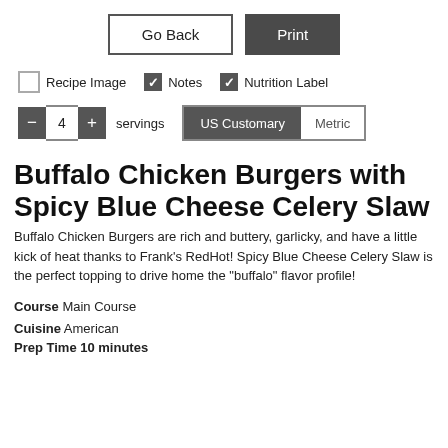[Figure (screenshot): UI controls: Go Back button (outlined) and Print button (dark filled)]
Recipe Image  Notes  Nutrition Label (with checkboxes; Recipe Image unchecked, Notes and Nutrition Label checked)
- 4 + servings  US Customary  Metric
Buffalo Chicken Burgers with Spicy Blue Cheese Celery Slaw
Buffalo Chicken Burgers are rich and buttery, garlicky, and have a little kick of heat thanks to Frank's RedHot! Spicy Blue Cheese Celery Slaw is the perfect topping to drive home the "buffalo" flavor profile!
Course  Main Course
Cuisine  American
Prep Time  10 minutes